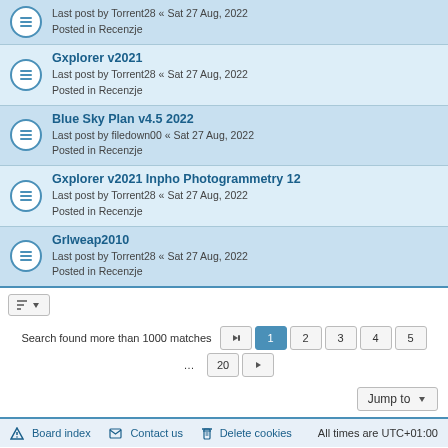Last post by Torrent28 « Sat 27 Aug, 2022
Posted in Recenzje
Gxplorer v2021
Last post by Torrent28 « Sat 27 Aug, 2022
Posted in Recenzje
Blue Sky Plan v4.5 2022
Last post by filedown00 « Sat 27 Aug, 2022
Posted in Recenzje
Gxplorer v2021 Inpho Photogrammetry 12
Last post by Torrent28 « Sat 27 Aug, 2022
Posted in Recenzje
Grlweap2010
Last post by Torrent28 « Sat 27 Aug, 2022
Posted in Recenzje
Search found more than 1000 matches  1 2 3 4 5 … 20
Jump to
Board index   Contact us   Delete cookies   All times are UTC+01:00
Powered by phpBB® Forum Software © phpBB Limited
Privacy | Terms